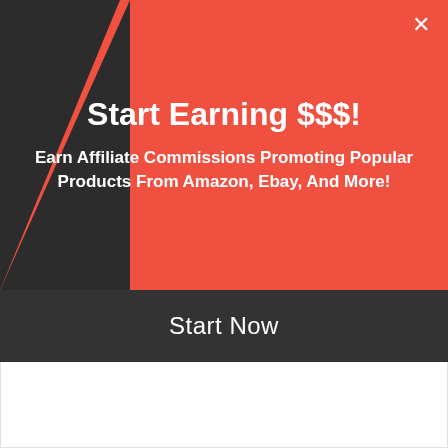Start Earning $$$!
Earn Affiliate Commissions Promoting Popular Products From Amazon, Ebay, And More!
Start Now
six months when things really get interesting.
Case Study Copy Cat
Here's a perfect example. These guys built a niche website (successfully), then discovered that someone was ripping them off word for word, within hours of publishing. They were getting ripped off so quickly, Google couldn't decide who was the original content creator. In fact, the person would actually back-date their content to look like it was